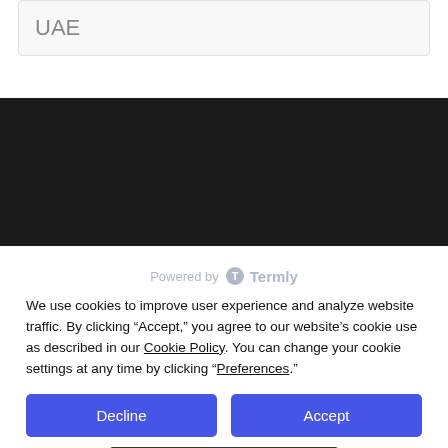UAE
[Figure (other): Dark black banner/background bar spanning full width]
Powered by Termly
We use cookies to improve user experience and analyze website traffic. By clicking “Accept,” you agree to our website’s cookie use as described in our Cookie Policy. You can change your cookie settings at any time by clicking “Preferences.”
Decline
Accept
Preferences